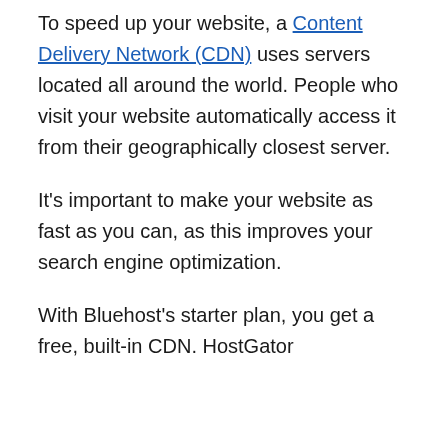To speed up your website, a Content Delivery Network (CDN) uses servers located all around the world. People who visit your website automatically access it from their geographically closest server.
It's important to make your website as fast as you can, as this improves your search engine optimization.
With Bluehost's starter plan, you get a free, built-in CDN. HostGator